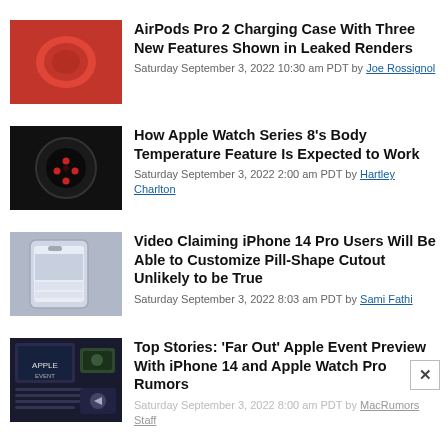AirPods Pro 2 Charging Case With Three New Features Shown in Leaked Renders
Saturday September 3, 2022 10:30 am PDT by Joe Rossignol
How Apple Watch Series 8's Body Temperature Feature Is Expected to Work
Saturday September 3, 2022 2:00 am PDT by Hartley Charlton
Video Claiming iPhone 14 Pro Users Will Be Able to Customize Pill-Shape Cutout Unlikely to be True
Saturday September 3, 2022 8:03 am PDT by Sami Fathi
Top Stories: 'Far Out' Apple Event Preview With iPhone 14 and Apple Watch Pro Rumors
Saturday September 3, 2022 8:00 am PDT by MacRumors Staff